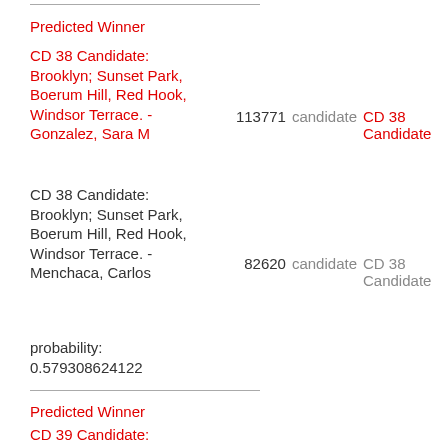Predicted Winner
CD 38 Candidate: Brooklyn; Sunset Park, Boerum Hill, Red Hook, Windsor Terrace. - Gonzalez, Sara M
113771 candidate CD 38 Candidate
CD 38 Candidate: Brooklyn; Sunset Park, Boerum Hill, Red Hook, Windsor Terrace. - Menchaca, Carlos
82620 candidate CD 38 Candidate
probability: 0.579308624122
Predicted Winner
CD 39 Candidate: